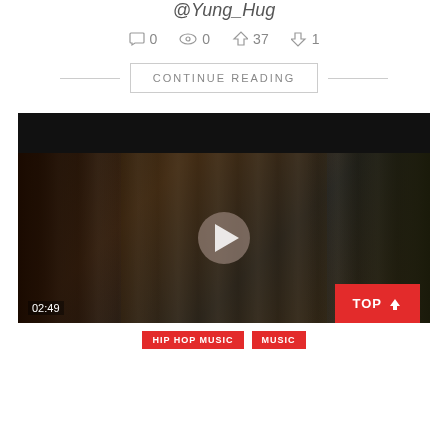@Yung_Hug
0 comments  0 views  37 likes  1 dislike
CONTINUE READING
[Figure (screenshot): Video thumbnail showing a dark hip-hop music video scene with people and a play button overlay, duration 02:49]
TOP
HIP HOP MUSIC  MUSIC